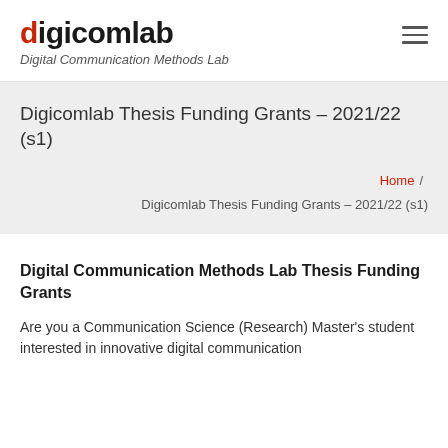digicomlab – Digital Communication Methods Lab
Digicomlab Thesis Funding Grants – 2021/22 (s1)
Home / Digicomlab Thesis Funding Grants – 2021/22 (s1)
Digital Communication Methods Lab Thesis Funding Grants
Are you a Communication Science (Research) Master's student interested in innovative digital communication